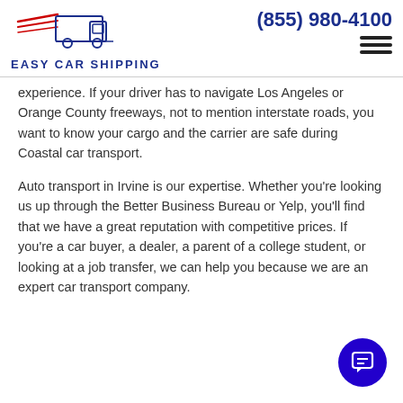[Figure (logo): Easy Car Shipping logo with truck silhouette and speed lines in blue and red, with text EASY CAR SHIPPING below]
(855) 980-4100
experience. If your driver has to navigate Los Angeles or Orange County freeways, not to mention interstate roads, you want to know your cargo and the carrier are safe during Coastal car transport.
Auto transport in Irvine is our expertise. Whether you're looking us up through the Better Business Bureau or Yelp, you'll find that we have a great reputation with competitive prices. If you're a car buyer, a dealer, a parent of a college student, or looking at a job transfer, we can help you because we are an expert car transport company.